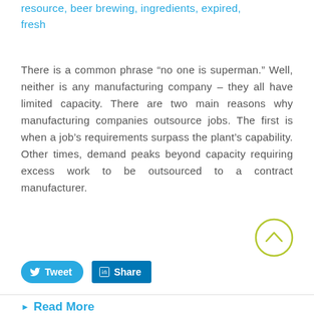resource, beer brewing, ingredients, expired, fresh
There is a common phrase “no one is superman.” Well, neither is any manufacturing company – they all have limited capacity. There are two main reasons why manufacturing companies outsource jobs. The first is when a job’s requirements surpass the plant’s capability. Other times, demand peaks beyond capacity requiring excess work to be outsourced to a contract manufacturer.
[Figure (other): Scroll-to-top circular button with chevron up icon, olive/yellow-green color]
[Figure (other): Tweet button (blue rounded) and LinkedIn Share button (blue square-cornered) for social sharing]
Read More